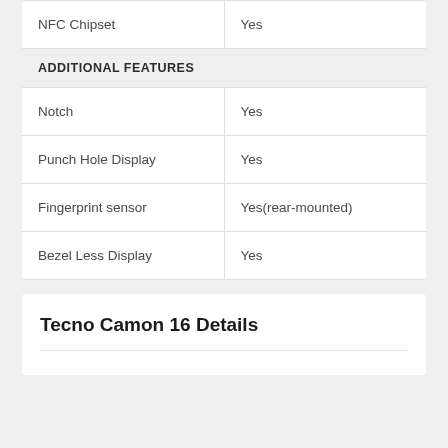| Feature | Value |
| --- | --- |
| NFC Chipset | Yes |
| ADDITIONAL FEATURES |  |
| Notch | Yes |
| Punch Hole Display | Yes |
| Fingerprint sensor | Yes(rear-mounted) |
| Bezel Less Display | Yes |
Tecno Camon 16 Details